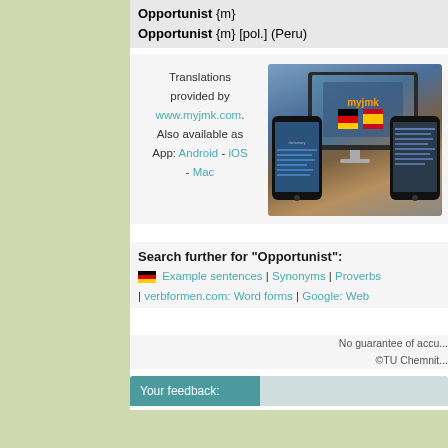Opportunist {m}
Opportunist {m} [pol.] (Peru)
Translations provided by www.myjmk.com. Also available as App: Android - iOS - Mac
[Figure (screenshot): Screenshot of myjmk.com app on tablet, desktop, and phone devices showing dictionary interface]
Search further for "Opportunist":
🇩🇪 Example sentences | Synonyms | Proverbs | verbformen.com: Word forms | Google: Web
No guarantee of accuracy
©TU Chemnitz
Your feedback: